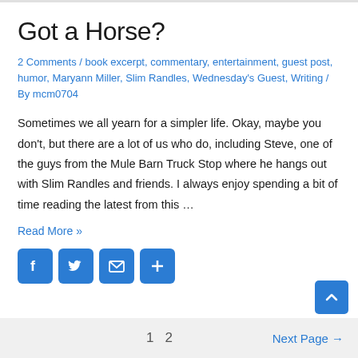Got a Horse?
2 Comments / book excerpt, commentary, entertainment, guest post, humor, Maryann Miller, Slim Randles, Wednesday's Guest, Writing / By mcm0704
Sometimes we all yearn for a simpler life. Okay, maybe you don't, but there are a lot of us who do, including Steve, one of the guys from the Mule Barn Truck Stop where he hangs out with Slim Randles and friends. I always enjoy spending a bit of time reading the latest from this …
Read More »
[Figure (infographic): Social sharing buttons: Facebook (blue f), Twitter (blue bird), Email (blue envelope), Share (blue plus)]
1  2  Next Page →